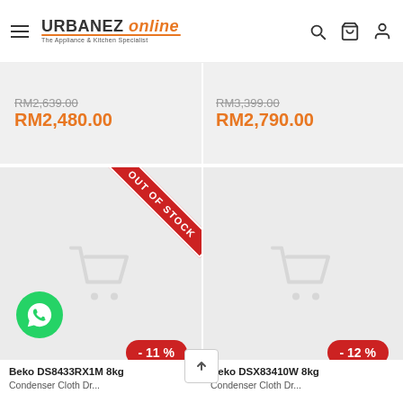URBANEZ online - The Appliance & Kitchen Specialist
RM2,639.00
RM2,480.00
RM3,399.00
RM2,790.00
[Figure (screenshot): Product card with cart icon, OUT OF STOCK ribbon, -11% badge, and product title starting with 'Beko DS8433RX1M 8kg']
[Figure (screenshot): Product card with cart icon, -12% badge, and product title starting with 'Beko DSX83410W 8kg']